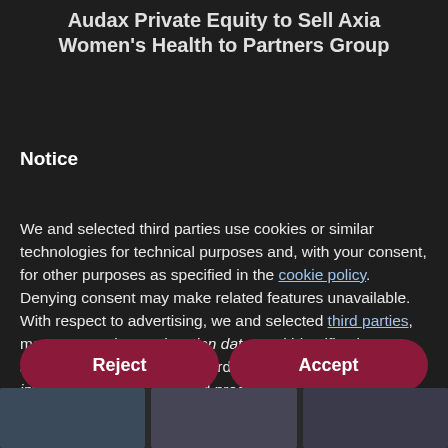Audax Private Equity to Sell Axia Women's Health to Partners Group
Notice
We and selected third parties use cookies or similar technologies for technical purposes and, with your consent, for other purposes as specified in the cookie policy. Denying consent may make related features unavailable.
With respect to advertising, we and selected third parties, may use precise geolocation data, and identification through device scanning in order to store and/or access information on a device and process personal data like your usage data for the following advertising purposes: personalized ads and content, ad and content measurement, audience insights and product development.
You can freely give, deny, or withdraw your consent at any time by accessing the preferences panel.
Reject
Accept
Learn more and customize